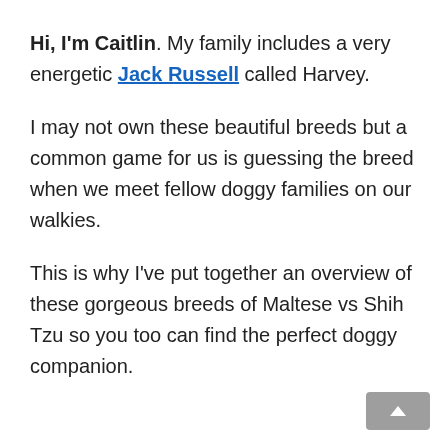Hi, I'm Caitlin. My family includes a very energetic Jack Russell called Harvey.
I may not own these beautiful breeds but a common game for us is guessing the breed when we meet fellow doggy families on our walkies.
This is why I've put together an overview of these gorgeous breeds of Maltese vs Shih Tzu so you too can find the perfect doggy companion.